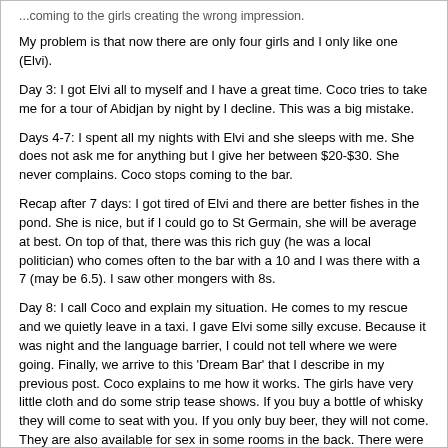...coming to the girls creating the wrong impression.
My problem is that now there are only four girls and I only like one (Elvi).
Day 3: I got Elvi all to myself and I have a great time. Coco tries to take me for a tour of Abidjan by night by I decline. This was a big mistake.
Days 4-7: I spent all my nights with Elvi and she sleeps with me. She does not ask me for anything but I give her between $20-$30. She never complains. Coco stops coming to the bar.
Recap after 7 days: I got tired of Elvi and there are better fishes in the pond. She is nice, but if I could go to St Germain, she will be average at best. On top of that, there was this rich guy (he was a local politician) who comes often to the bar with a 10 and I was there with a 7 (may be 6.5). I saw other mongers with 8s.
Day 8: I call Coco and explain my situation. He comes to my rescue and we quietly leave in a taxi. I gave Elvi some silly excuse. Because it was night and the language barrier, I could not tell where we were going. Finally, we arrive to this 'Dream Bar' that I describe in my previous post. Coco explains to me how it works. The girls have very little cloth and do some strip tease shows. If you buy a bottle of whisky they will come to seat with you. If you only buy beer, they will not come. They are also available for sex in some rooms in the back. There were around 40 girls and 80 guys. I was the only white person. The girls range from a 9 to several fuglies that African actually like. We buy a bottle of whiskey ($40) and in no times we have girls. This little spinner was all over me, but this time I wanted to be patient. Finally, the spinner notices that I was looking at this tall beautiful woman who was at least a 9. She tells me I will get you that girl (pros are not jealous). The spinner sits next to Coco and I get the prettiest one. We start kissing and so on. Now they start putting pressure on us to go to the back. Coco negotiates a $10 fee for each girl. I paid for his girl and my girl. I go to the back and have BBBJ and regular sex with my girl (I don't remember her name). It was more like a porn star experience than a girlfriend experience. After sex, she tells me that she needs to go, but she wants me to stay. I go back to the club and sit next to Coco and his girl. My girl has to do her show. She is pretty good and you can tell that this girl wants to be in porn. The crazy part is at the end of her show. She is naked and comes to me. She wants me